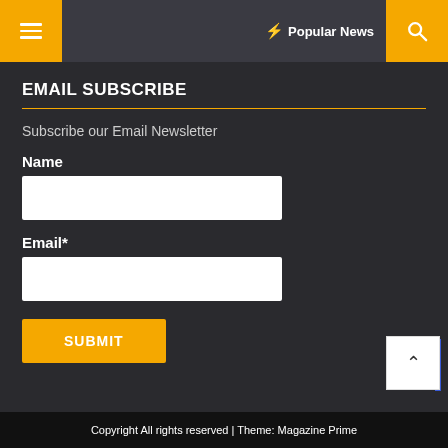Popular News
EMAIL SUBSCRIBE
Subscribe our Email Newsletter
Name
Email*
SUBMIT
Copyright All rights reserved | Theme: Magazine Prime